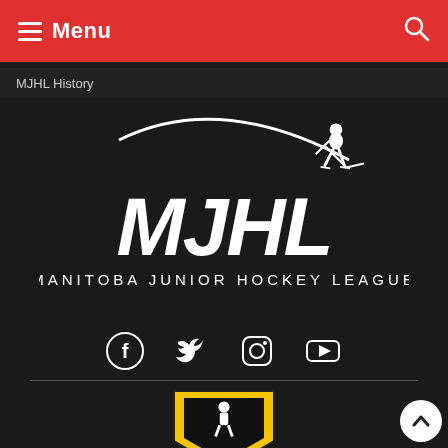Menu (navigation bar with hamburger icon and search icon)
MJHL History
[Figure (logo): MJHL Manitoba Junior Hockey League logo — white text/graphic on dark background with a hockey player silhouette and swoosh]
[Figure (infographic): Social media icons: Facebook, Twitter, Instagram, YouTube — all white on dark background]
[Figure (logo): Hockey Canada logo — red maple leaf with hockey player silhouette and 'CANADA' text in red]
[Figure (logo): Hockey Manitoba logo — partially visible at bottom of page, yellow/black with hockey player silhouette]